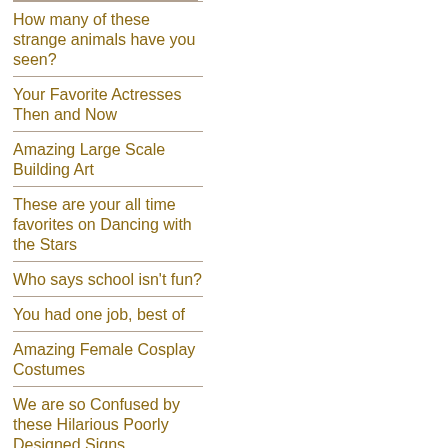How many of these strange animals have you seen?
Your Favorite Actresses Then and Now
Amazing Large Scale Building Art
These are your all time favorites on Dancing with the Stars
Who says school isn't fun?
You had one job, best of
Amazing Female Cosplay Costumes
We are so Confused by these Hilarious Poorly Designed Signs